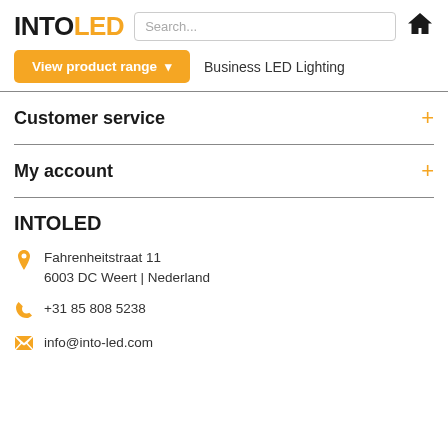INTOLED
View product range  Business LED Lighting
Customer service
My account
INTOLED
Fahrenheitstraat 11
6003 DC Weert | Nederland
+31 85 808 5238
info@into-led.com